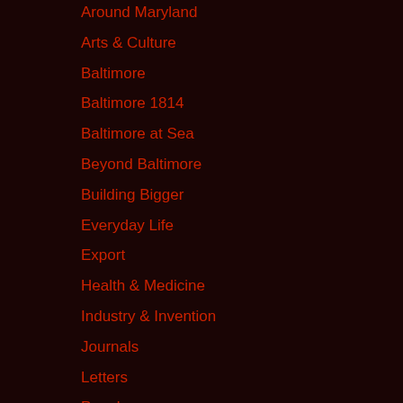Around Maryland
Arts & Culture
Baltimore
Baltimore 1814
Baltimore at Sea
Beyond Baltimore
Building Bigger
Everyday Life
Export
Health & Medicine
Industry & Invention
Journals
Letters
People
Periodicals